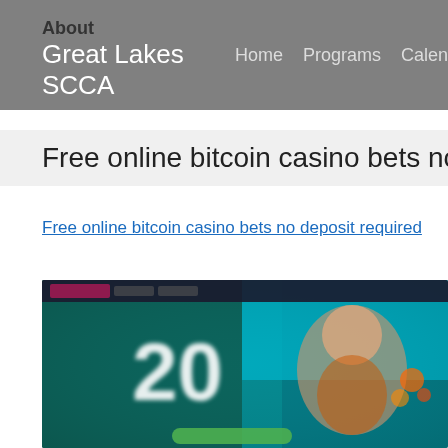About Great Lakes SCCA — Home   Programs   Calen…
Free online bitcoin casino bets no depos…
Free online bitcoin casino bets no deposit required
[Figure (screenshot): Blurred casino website screenshot showing the number '20' in large white text on a dark teal/green background, with a cartoon character figure on the right side holding something, and a green button at the bottom.]